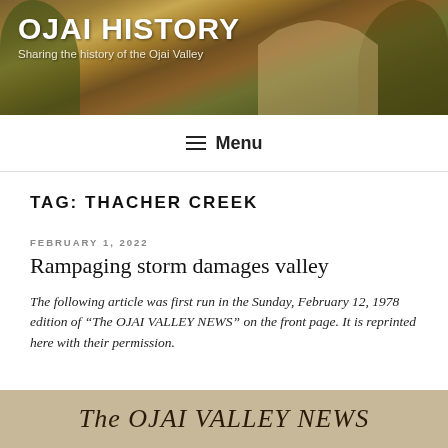OJAI HISTORY — Sharing the history of the Ojai Valley
Menu
TAG: THACHER CREEK
FEBRUARY 1, 2022
Rampaging storm damages valley
The following article was first run in the Sunday, February 12, 1978 edition of “The OJAI VALLEY NEWS” on the front page. It is reprinted here with their permission.
[Figure (photo): Bottom strip showing The OJAI VALLEY NEWS newspaper masthead in italic serif font on aged paper background]